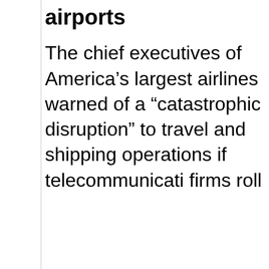airports
The chief executives of America's largest airlines warned of a “catastrophic disruption” to travel and shipping operations if telecommunicati firms roll